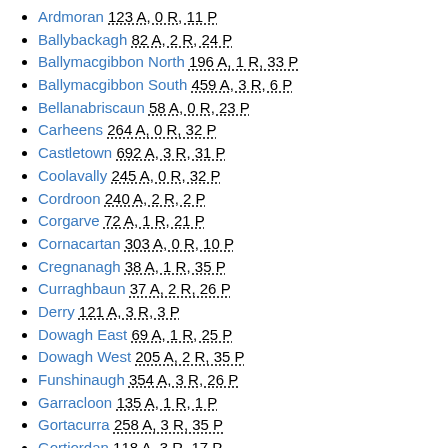Ardmoran 123 A, 0 R, 11 P
Ballybackagh 82 A, 2 R, 24 P
Ballymacgibbon North 196 A, 1 R, 33 P
Ballymacgibbon South 459 A, 3 R, 6 P
Bellanabriscaun 58 A, 0 R, 23 P
Carheens 264 A, 0 R, 32 P
Castletown 692 A, 3 R, 31 P
Coolavally 245 A, 0 R, 32 P
Cordroon 240 A, 2 R, 2 P
Corgarve 72 A, 1 R, 21 P
Cornacartan 303 A, 0 R, 10 P
Cregnanagh 38 A, 1 R, 35 P
Curraghbaun 37 A, 2 R, 26 P
Derry 121 A, 3 R, 3 P
Dowagh East 69 A, 1 R, 25 P
Dowagh West 205 A, 2 R, 35 P
Funshinaugh 354 A, 3 R, 26 P
Garracloon 135 A, 1 R, 1 P
Gortacurra 258 A, 3 R, 35 P
Gortjordan 118 A, 3 R, 17 P
Houndswood Middle 469 A, 1 R, 9 P
Houndswood North 286 A, 1 R, 25 P
Houndswood South 269 A, 3 R, 23 P